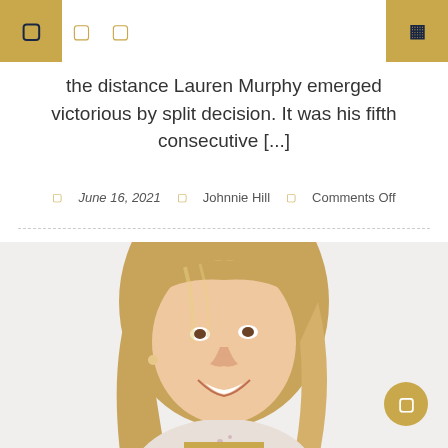Navigation header with icons
the distance Lauren Murphy emerged victorious by split decision. It was his fifth consecutive [...]
June 16, 2021  Johnnie Hill  Comments Off
[Figure (photo): Smiling woman with long blonde hair, professional headshot on white background]